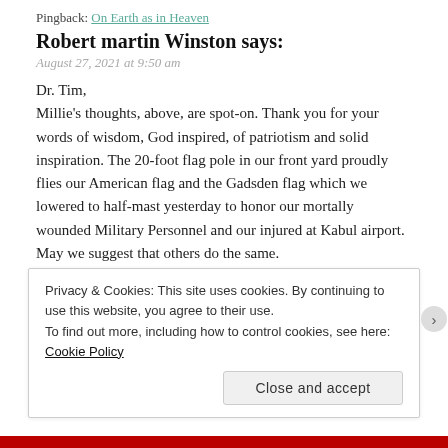Pingback: On Earth as in Heaven
Robert martin Winston says:
August 27, 2021 at 9:50 am
Dr. Tim,
Millie's thoughts, above, are spot-on. Thank you for your words of wisdom, God inspired, of patriotism and solid inspiration. The 20-foot flag pole in our front yard proudly flies our American flag and the Gadsden flag which we lowered to half-mast yesterday to honor our mortally wounded Military Personnel and our injured at Kabul airport. May we suggest that others do the same.
REPLY
Privacy & Cookies: This site uses cookies. By continuing to use this website, you agree to their use.
To find out more, including how to control cookies, see here: Cookie Policy
Close and accept